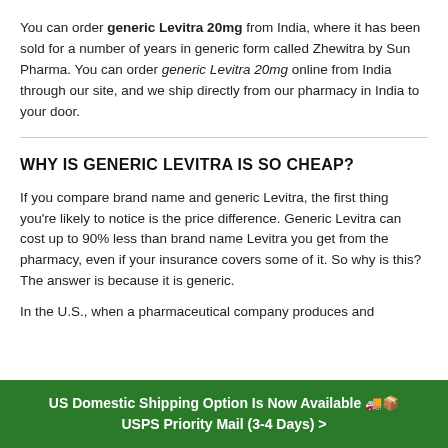You can order generic Levitra 20mg from India, where it has been sold for a number of years in generic form called Zhewitra by Sun Pharma. You can order generic Levitra 20mg online from India through our site, and we ship directly from our pharmacy in India to your door.
WHY IS GENERIC LEVITRA IS SO CHEAP?
If you compare brand name and generic Levitra, the first thing you're likely to notice is the price difference. Generic Levitra can cost up to 90% less than brand name Levitra you get from the pharmacy, even if your insurance covers some of it. So why is this? The answer is because it is generic.
In the U.S., when a pharmaceutical company produces and
US Domestic Shipping Option Is Now Available 🚚📦 USPS Priority Mail (3-4 Days) >